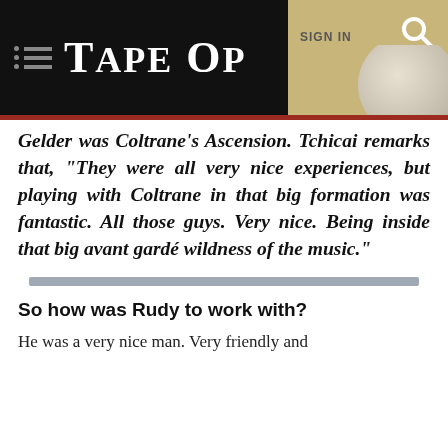TAPE OP | SIGN IN
Gelder was Coltrane's Ascension. Tchicai remarks that, "They were all very nice experiences, but playing with Coltrane in that big formation was fantastic. All those guys. Very nice. Being inside that big avant gardé wildness of the music."
So how was Rudy to work with?
He was a very nice man. Very friendly and